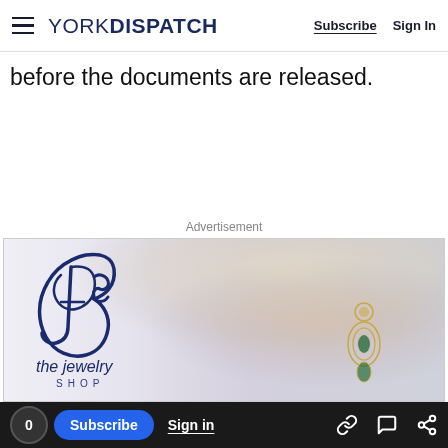YORK DISPATCH | Subscribe | Sign In
before the documents are released.
Advertisement
[Figure (photo): Advertisement for 'the jewelry shop' featuring a blonde woman wearing ornate green-gemstone drop earrings. The logo displays a stylized 'Js' monogram with 'the jewelry SHOP' text in dark navy blue on the left side of the ad.]
0  Subscribe  Sign in  [link icon] [comment icon] [share icon]